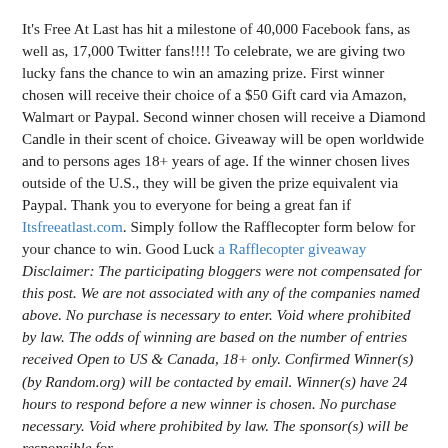It's Free At Last has hit a milestone of 40,000 Facebook fans, as well as, 17,000 Twitter fans!!!! To celebrate, we are giving two lucky fans the chance to win an amazing prize. First winner chosen will receive their choice of a $50 Gift card via Amazon, Walmart or Paypal. Second winner chosen will receive a Diamond Candle in their scent of choice. Giveaway will be open worldwide and to persons ages 18+ years of age. If the winner chosen lives outside of the U.S., they will be given the prize equivalent via Paypal. Thank you to everyone for being a great fan if Itsfreeatlast.com. Simply follow the Rafflecopter form below for your chance to win. Good Luck a Rafflecopter giveaway Disclaimer: The participating bloggers were not compensated for this post. We are not associated with any of the companies named above. No purchase is necessary to enter. Void where prohibited by law. The odds of winning are based on the number of entries received Open to US & Canada, 18+ only. Confirmed Winner(s) (by Random.org) will be contacted by email. Winner(s) have 24 hours to respond before a new winner is chosen. No purchase necessary. Void where prohibited by law. The sponsor(s) will be responsible for